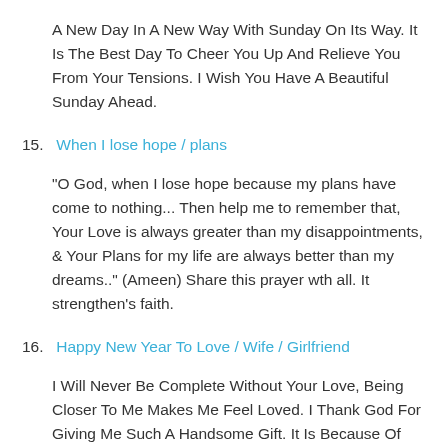A New Day In A New Way With Sunday On Its Way. It Is The Best Day To Cheer You Up And Relieve You From Your Tensions. I Wish You Have A Beautiful Sunday Ahead.
15. When I lose hope / plans
"O God, when I lose hope because my plans have come to nothing... Then help me to remember that, Your Love is always greater than my disappointments, & Your Plans for my life are always better than my dreams.." (Ameen) Share this prayer wth all. It strengthen's faith.
16. Happy New Year To Love / Wife / Girlfriend
I Will Never Be Complete Without Your Love, Being Closer To Me Makes Me Feel Loved. I Thank God For Giving Me Such A Handsome Gift. It Is Because Of Your